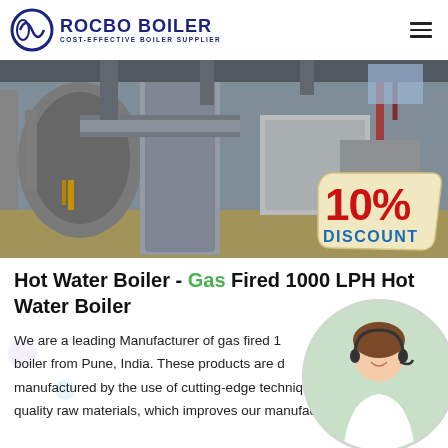ROCBO BOILER — COST-EFFECTIVE BOILER SUPPLIER
[Figure (photo): Industrial gas fired hot water boiler equipment inside a factory, with ductwork and machinery visible. A '10% DISCOUNT' badge overlay in the bottom right corner.]
Hot Water Boiler - Gas Fired 1000 LPH Hot Water Boiler
We are a leading Manufacturer of gas fired 1000 LPH hot water boiler from Pune, India. These products are designed and manufactured by the use of cutting-edge techniques and quality raw materials, which improves our manufacturing capacity...